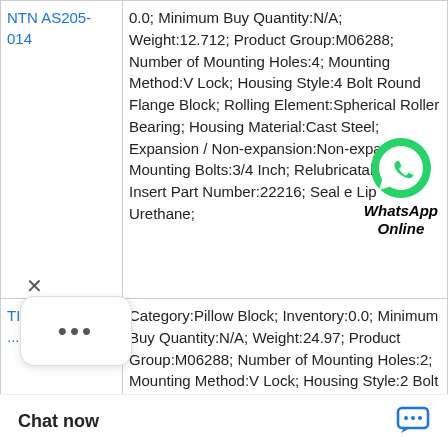| Part Number | Description |
| --- | --- |
| NTN AS205-014 | 0.0; Minimum Buy Quantity:N/A; Weight:12.712; Product Group:M06288; Number of Mounting Holes:4; Mounting Method:V Lock; Housing Style:4 Bolt Round Flange Block; Rolling Element:Spherical Roller Bearing; Housing Material:Cast Steel; Expansion / Non-expansion:Non-expansion; Mounting Bolts:3/4 Inch; Relubricatable:Yes; Insert Part Number:22216; Seal e Lip Urethane; |
| TIMKEN N1... | Category:Pillow Block; Inventory:0.0; Minimum Buy Quantity:N/A; Weight:24.97; Product Group:M06288; Number of Mounting Holes:2; Mounting Method:V Lock; Housing Style:2 Bolt Pillow Block; Rolling Element:Spherical Roller Bearing; Housing Material:Cast Steel; Expansion / Non-expansion:Non-expansion; Mounting Bolts:7/8 Inch; |
[Figure (other): WhatsApp Online floating button with green WhatsApp logo and italic bold label 'WhatsApp Online']
[Figure (other): Chat popup with X close button, white rounded rectangle with three dots (loading indicator)]
Chat now